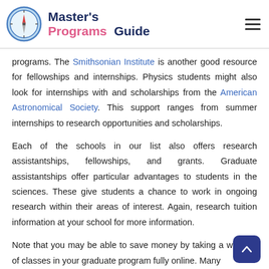Master's Programs Guide
programs. The Smithsonian Institute is another good resource for fellowships and internships. Physics students might also look for internships with and scholarships from the American Astronomical Society. This support ranges from summer internships to research opportunities and scholarships.
Each of the schools in our list also offers research assistantships, fellowships, and grants. Graduate assistantships offer particular advantages to students in the sciences. These give students a chance to work in ongoing research within their areas of interest. Again, research tuition information at your school for more information.
Note that you may be able to save money by taking a wide range of classes in your graduate program fully online. Many